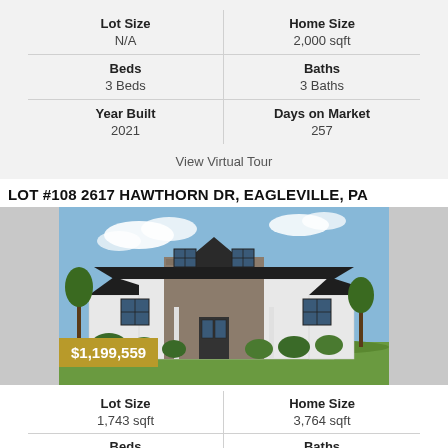| Lot Size | Home Size |
| --- | --- |
| N/A | 2,000 sqft |
| 3 Beds | 3 Baths |
| 2021 | 257 |
View Virtual Tour
LOT #108 2617 HAWTHORN DR, EAGLEVILLE, PA
[Figure (photo): Exterior photo of a large two-story white and stone house with dark roof and green landscaping]
$1,199,559
| Lot Size | Home Size |
| --- | --- |
| 1,743 sqft | 3,764 sqft |
| 5 Beds | 5 Baths |